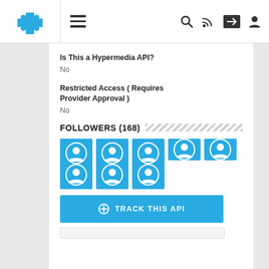[Figure (screenshot): Navigation bar with puzzle piece logo, hamburger menu, search, RSS, share and user icons]
Is This a Hypermedia API?
No
Restricted Access ( Requires Provider Approval )
No
FOLLOWERS (168)
[Figure (illustration): Grid of 9 user avatar icons on blue background cards]
TRACK THIS API (button)